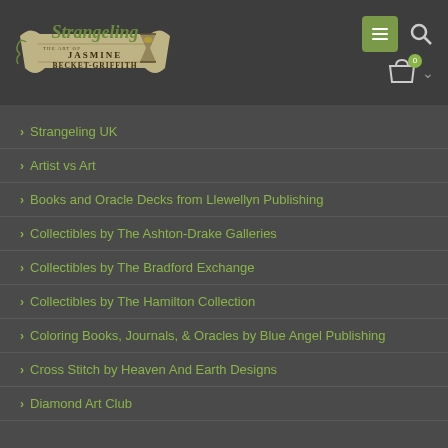[Figure (logo): Strangeling logo - The Art of Jasmine Becket-Griffith, stylized text with hourglass]
Strangeling UK
Artist vs Art
Books and Oracle Decks from Llewellyn Publishing
Collectibles by The Ashton-Drake Galleries
Collectibles by The Bradford Exchange
Collectibles by The Hamilton Collection
Coloring Books, Journals, & Oracles by Blue Angel Publishing
Cross Stitch by Heaven And Earth Designs
Diamond Art Club